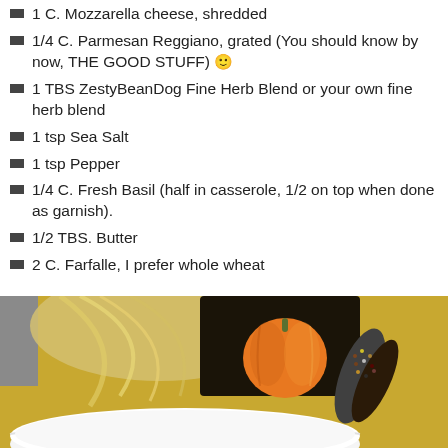1 C. Mozzarella cheese, shredded
1/4 C. Parmesan Reggiano, grated (You should know by now, THE GOOD STUFF) 🙂
1 TBS ZestyBeanDog Fine Herb Blend or your own fine herb blend
1 tsp Sea Salt
1 tsp Pepper
1/4 C. Fresh Basil (half in casserole, 1/2 on top when done as garnish).
1/2 TBS. Butter
2 C. Farfalle, I prefer whole wheat
[Figure (photo): Photo of a white casserole dish with autumn harvest decorations including an orange pumpkin, Indian corn, and dried corn husks on a gold/yellow tablecloth background]